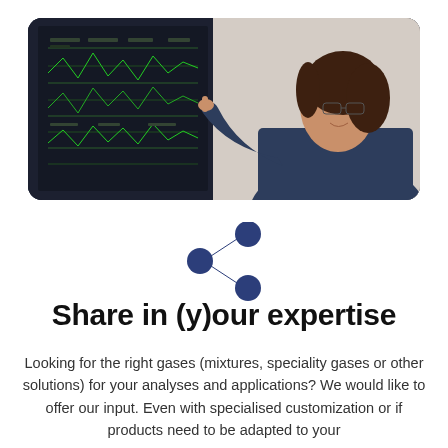[Figure (photo): A woman with glasses smiling and pointing at a screen displaying technical data or control panel information, with dark electronic equipment visible on the left.]
[Figure (illustration): A dark blue share/network icon consisting of three filled circles connected by lines in a share symbol shape.]
Share in (y)our expertise
Looking for the right gases (mixtures, speciality gases or other solutions) for your analyses and applications? We would like to offer our input. Even with specialised customization or if products need to be adapted to your